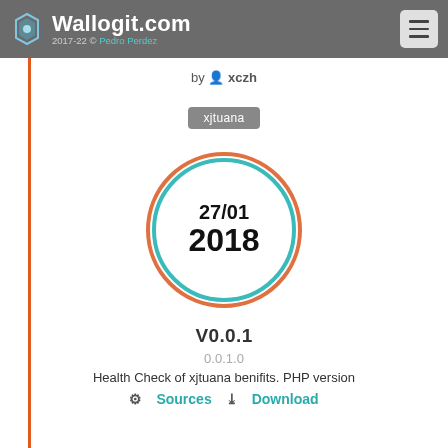Wallogit.com 2017-22 © Pedro Perdez
by xczh
xjtuana
[Figure (other): Circular ring graphic with teal and orange concentric circles displaying date 27/01 and year 2018 in bold text]
V0.0.1
0.0.1.0
Health Check of xjtuana benifits. PHP version
Sources  Download